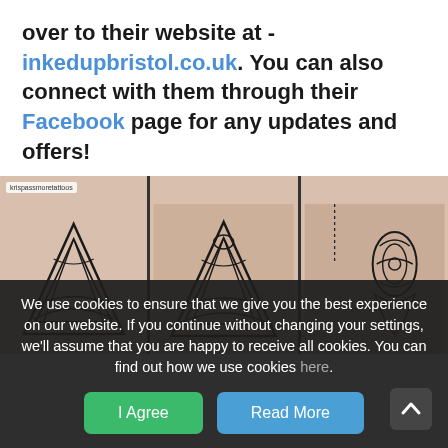over to their website at - inkedupbristol.co.uk. You can also connect with them through their Facebook page for any updates and offers!
[Figure (photo): Three-panel photo showing tattoo artwork on skin — geometric/Celtic-style triangle/knot tattoos, with an Instagram watermark 'krispassmoretattoos' in the top-left of the first panel.]
We use cookies to ensure that we give you the best experience on our website. If you continue without changing your settings, we'll assume that you are happy to receive all cookies. You can find out how we use cookies here.